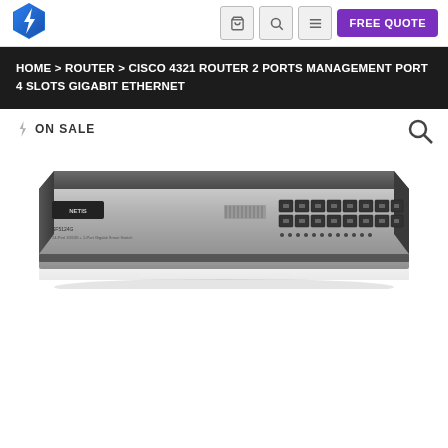[Figure (logo): Blue hexagon logo with lightning bolt icon]
FREE QUOTE
HOME > ROUTER > CISCO 4321 ROUTER 2 PORTS MANAGEMENT PORT 4 SLOTS GIGABIT ETHERNET
ON SALE
[Figure (photo): Photo of a network switch/router device - a flat rack-mounted switch with multiple ethernet ports on the front panel, silver and dark gray color]